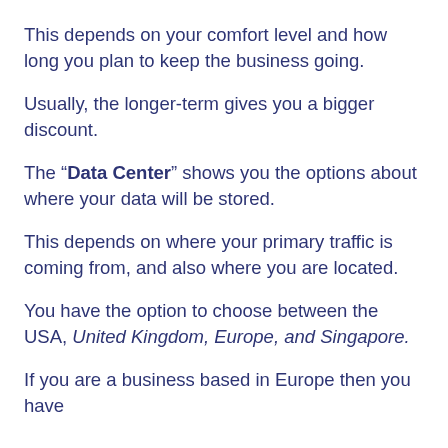This depends on your comfort level and how long you plan to keep the business going.
Usually, the longer-term gives you a bigger discount.
The “Data Center” shows you the options about where your data will be stored.
This depends on where your primary traffic is coming from, and also where you are located.
You have the option to choose between the USA, United Kingdom, Europe, and Singapore.
If you are a business based in Europe then you have